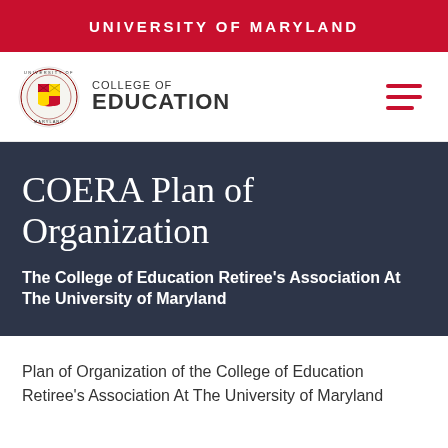UNIVERSITY OF MARYLAND
[Figure (logo): University of Maryland College of Education logo with UMD seal and text 'COLLEGE OF EDUCATION']
COERA Plan of Organization
The College of Education Retiree's Association At The University of Maryland
Plan of Organization of the College of Education Retiree's Association At The University of Maryland